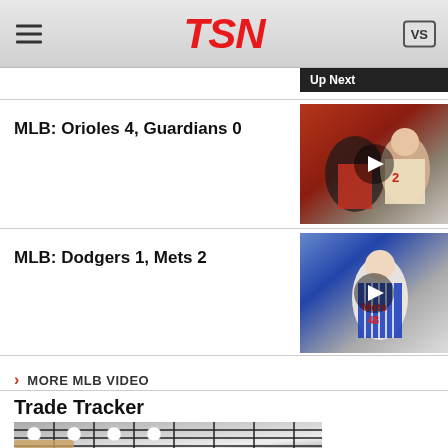TSN
Up Next
MLB: Orioles 4, Guardians 0
[Figure (photo): Baseball photo – catcher and pitcher, Orioles vs Guardians game]
MLB: Dodgers 1, Mets 2
[Figure (photo): Mets pitcher #48 throwing during Dodgers vs Mets game]
MORE MLB VIDEO
Trade Tracker
[Figure (photo): Baseballs and bat in a net – Trade Tracker image]